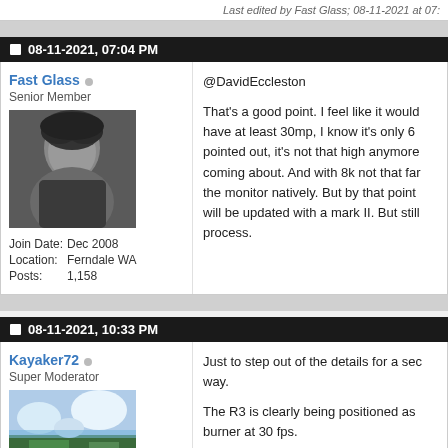Last edited by Fast Glass; 08-11-2021 at 07:
08-11-2021, 07:04 PM
Fast Glass
Senior Member
[Figure (photo): Black and white profile photo of a person with dark hair wearing a dark shirt]
| Join Date: | Dec 2008 |
| Location: | Ferndale WA |
| Posts: | 1,158 |
@DavidEccleston

That's a good point. I feel like it would have at least 30mp, I know it's only 6 pointed out, it's not that high anymore coming about. And with 8k not that far the monitor natively. But by that point will be updated with a mark II. But still process.
08-11-2021, 10:33 PM
Kayaker72
Super Moderator
[Figure (photo): Landscape photo showing a lake or water body with clouds in the sky]
Just to step out of the details for a sec way.

The R3 is clearly being positioned as burner at 30 fps.